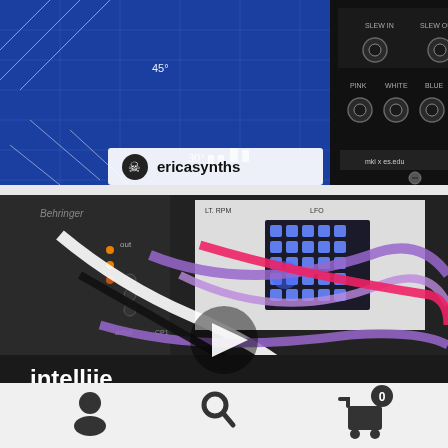[Figure (photo): Erica Synths modular synthesizer module on a blue grid background with patch cables. Module labeled 'mki x es.edu' with SLEW IN, SLEW OUT, PINK, WHITE, BLUE inputs/outputs. Username 'ericasynths' shown with skull icon overlay at bottom left.]
[Figure (photo): Modular synthesizer setup showing Behringer, Intellijel, and other modules with multiple patch cables in white, purple, red, and black. A glowing blue LED matrix is visible. Video play button overlay in center. 'intellije' text visible on bottom-left panel.]
[Figure (infographic): Bottom navigation bar with three icons: user/profile icon on left, search/magnifying glass in center, and shopping cart with badge showing '0' on right.]